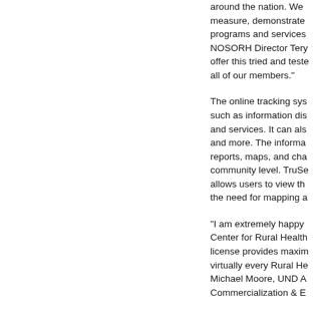around the nation. We measure, demonstrate programs and services NOSORH Director Tery offer this tried and tested all of our members."
The online tracking sys such as information dis and services. It can als and more. The informa reports, maps, and cha community level. TruSe allows users to view th the need for mapping a
"I am extremely happy Center for Rural Health license provides maxim virtually every Rural He Michael Moore, UND A Commercialization & E
"Requirements to track prevalent in the non-pr does just that and facili significant advantages